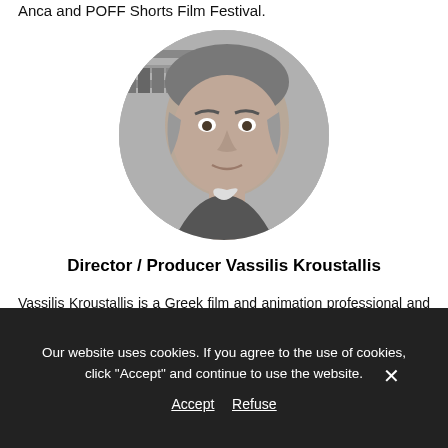Anca and POFF Shorts Film Festival.
[Figure (photo): Black and white circular portrait photo of Vassilis Kroustallis, a middle-aged man with grey hair, in front of bookshelves.]
Director / Producer Vassilis Kroustallis
Vassilis Kroustallis is a Greek film and animation professional and scholar, now resident in Estonia. He has studied Classics, Philosophy (Greece/UK) and Film Journalism (Glasgow University). He is the Head Editor of the
Our website uses cookies. If you agree to the use of cookies, click "Accept" and continue to use the website.
Accept   Refuse